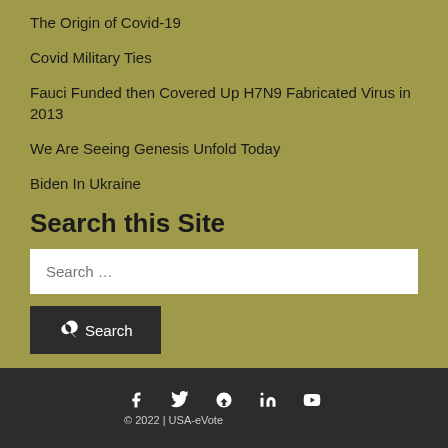The Origin of Covid-19
Covid Military Ties
Fauci Funded then Covered Up H7N9 Fabricated Virus in 2013
We Are Seeing Genesis Unfold Today
Biden In Ukraine
Search this Site
© 2022 | USA-eVote